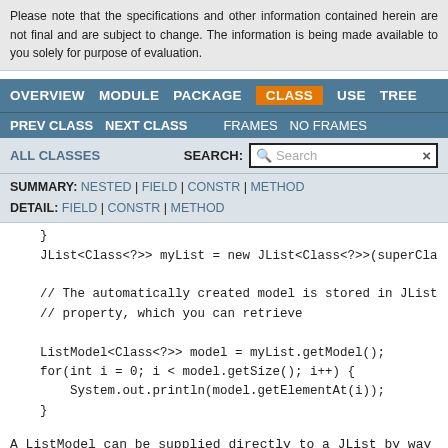Please note that the specifications and other information contained herein are not final and are subject to change. The information is being made available to you solely for purpose of evaluation.
OVERVIEW  MODULE  PACKAGE  CLASS  USE  TREE
PREV CLASS  NEXT CLASS  FRAMES  NO FRAMES
ALL CLASSES  SEARCH: [Search]
SUMMARY: NESTED | FIELD | CONSTR | METHOD
DETAIL: FIELD | CONSTR | METHOD
}
    JList<Class<?>> myList = new JList<Class<?>>(superCla

    // The automatically created model is stored in JList
    // property, which you can retrieve

    ListModel<Class<?>> model = myList.getModel();
    for(int i = 0; i < model.getSize(); i++) {
        System.out.println(model.getElementAt(i));
    }
A ListModel can be supplied directly to a JList by way